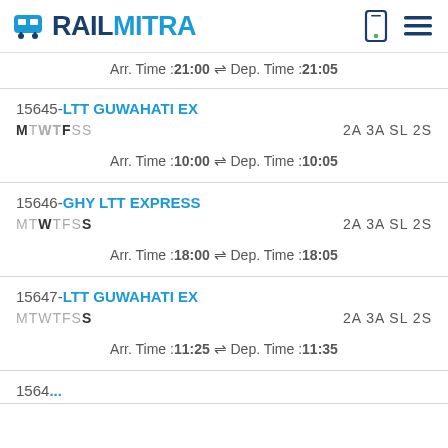RAILMITRA
Arr. Time :21:00  Dep. Time :21:05
15645-LTT GUWAHATI EX
MTWTFSS	2A 3A SL 2S
Arr. Time :10:00  Dep. Time :10:05
15646-GHY LTT EXPRESS
MTWTFSS	2A 3A SL 2S
Arr. Time :18:00  Dep. Time :18:05
15647-LTT GUWAHATI EX
MTWTFSS	2A 3A SL 2S
Arr. Time :11:25  Dep. Time :11:35
1564...